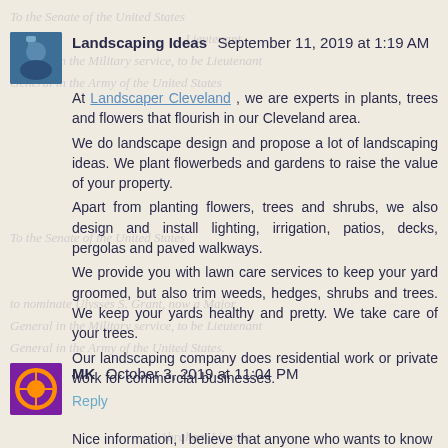Landscaping Ideas September 11, 2019 at 1:19 AM
At Landscaper Cleveland , we are experts in plants, trees and flowers that flourish in our Cleveland area.
We do landscape design and propose a lot of landscaping ideas. We plant flowerbeds and gardens to raise the value of your property.
Apart from planting flowers, trees and shrubs, we also design and install lighting, irrigation, patios, decks, pergolas and paved walkways.
We provide you with lawn care services to keep your yard groomed, but also trim weeds, hedges, shrubs and trees. We keep your yards healthy and pretty. We take care of your trees.
Our landscaping company does residential work or private work for commercial businesses.
Reply
MK October 3, 2019 at 11:04 PM
Nice information, I believe that anyone who wants to know